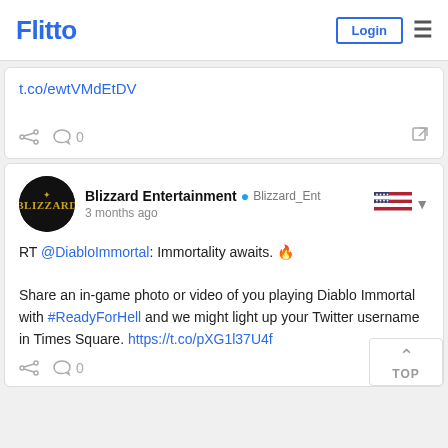Flitto  Login
t.co/ewtVMdEtDV
0
Blizzard Entertainment  Blizzard_Ent  3 months ago
RT @DiabloImmortal: Immortality awaits. 🔥

Share an in-game photo or video of you playing Diablo Immortal with #ReadyForHell and we might light up your Twitter username in Times Square. https://t.co/pXG1l37U4f
0